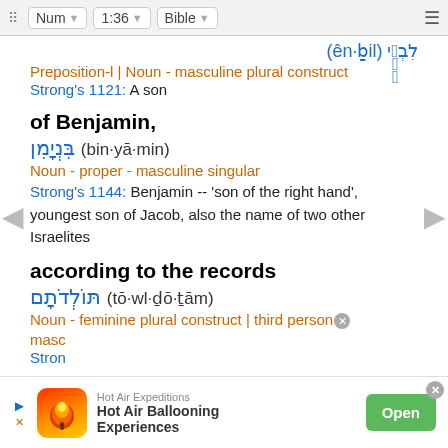Num | 1:36 | Bible
Preposition-l | Noun - masculine plural construct
Strong's 1121: A son
of Benjamin,
בִּנְיָמִן (bin·yā·min)
Noun - proper - masculine singular
Strong's 1144: Benjamin -- 'son of the right hand', youngest son of Jacob, also the name of two other Israelites
according to the records
תּוֹלְדֹתָם (tō·wl·ḏō·ṯām)
Noun - feminine plural construct | third person masculine
Strong's